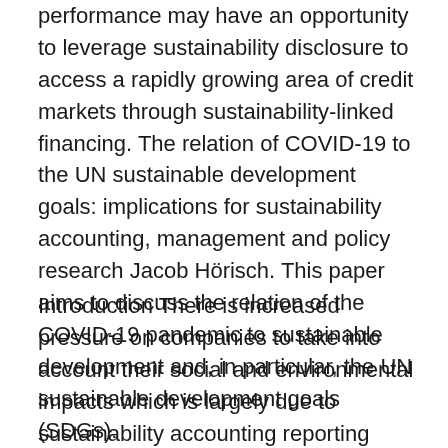performance may have an opportunity to leverage sustainability disclosure to access a rapidly growing area of credit markets through sustainability-linked financing. The relation of COVID-19 to the UN sustainable development goals: implications for sustainability accounting, management and policy research Jacob Hörisch. This paper aims to discuss the relation of the COVID-19 pandemic to sustainable development and, in particular, the UN sustainable development goals (SDGs).
Introduction There is increased pressure on companies to take into account their social and environmental impacts which is largely due to sustainability accounting reporting guideline proliferation. The triple bottom line (TBL) approach examines The 2021 CARE Accounting for